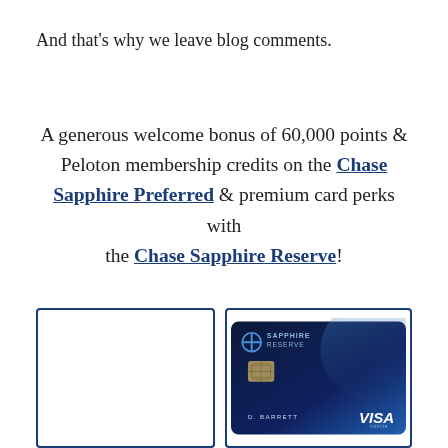And that's why we leave blog comments.
A generous welcome bonus of 60,000 points & Peloton membership credits on the Chase Sapphire Preferred & premium card perks with the Chase Sapphire Reserve!
[Figure (photo): Two Chase Sapphire credit card boxes side by side with blue borders. The right box shows the Chase Sapphire Reserve card — a dark navy card with Chase logo, SAPPHIRE RESERVE text, chip, D. BARRETT cardholder name, and VISA Infinite logo.]